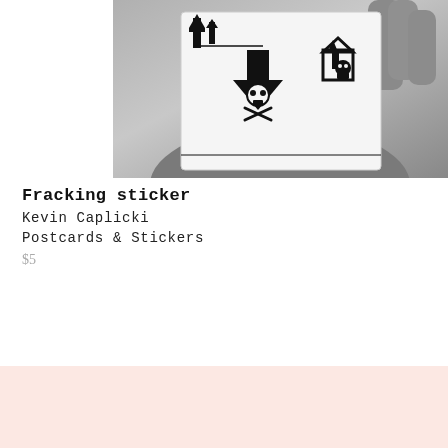[Figure (photo): Black and white photograph of a hand holding a square sticker showing fracking-themed illustration with skull and crossbones symbols, oil derricks, a house with upward arrow, and a downward arrow — all in bold black graphic style]
Fracking sticker
Kevin Caplicki
Postcards & Stickers
$5